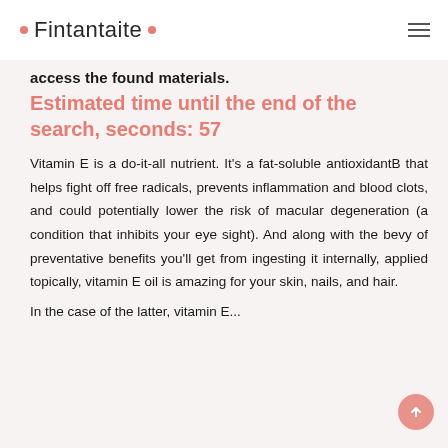Fintantaite
access the found materials.
Estimated time until the end of the search, seconds: 57
Vitamin E is a do-it-all nutrient. It's a fat-soluble antioxidantB that helps fight off free radicals, prevents inflammation and blood clots, and could potentially lower the risk of macular degeneration (a condition that inhibits your eye sight). And along with the bevy of preventative benefits you'll get from ingesting it internally, applied topically, vitamin E oil is amazing for your skin, nails, and hair.
In the case of the latter, vitamin E...